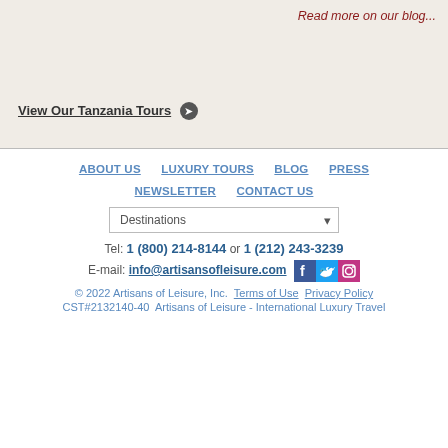Read more on our blog...
View Our Tanzania Tours ❯
ABOUT US | LUXURY TOURS | BLOG | PRESS | NEWSLETTER | CONTACT US
Destinations
Tel: 1 (800) 214-8144 or 1 (212) 243-3239
E-mail: info@artisansofleisure.com
[Figure (logo): Facebook, Twitter, and Instagram social media icons]
© 2022 Artisans of Leisure, Inc.  Terms of Use  Privacy Policy
CST#2132140-40  Artisans of Leisure - International Luxury Travel